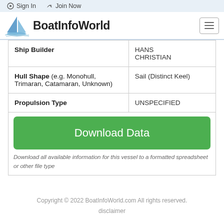Sign In   Join Now
[Figure (logo): BoatInfoWorld logo with sailboat icon and text]
| Ship Builder | HANS CHRISTIAN |
| Hull Shape (e.g. Monohull, Trimaran, Catamaran, Unknown) | Sail (Distinct Keel) |
| Propulsion Type | UNSPECIFIED |
Download Data
Download all available information for this vessel to a formatted spreadsheet or other file type
Copyright © 2022 BoatInfoWorld.com All rights reserved.
disclaimer